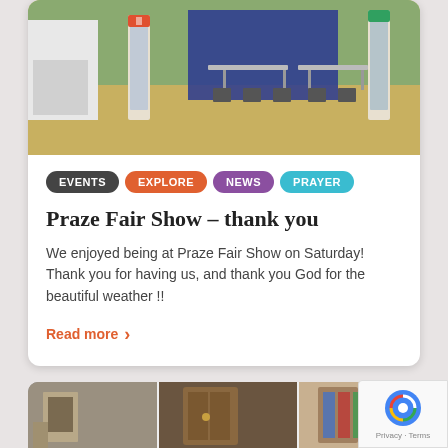[Figure (photo): Outdoor fair scene with display stands, folding tables and chairs on dry grass, van partially visible on left, blue backdrop in background]
EVENTS
EXPLORE
NEWS
PRAYER
Praze Fair Show – thank you
We enjoyed being at Praze Fair Show on Saturday! Thank you for having us, and thank you God for the beautiful weather !!
Read more ›
[Figure (photo): Church interior and exterior collage showing stone building, wooden door, stained glass window]